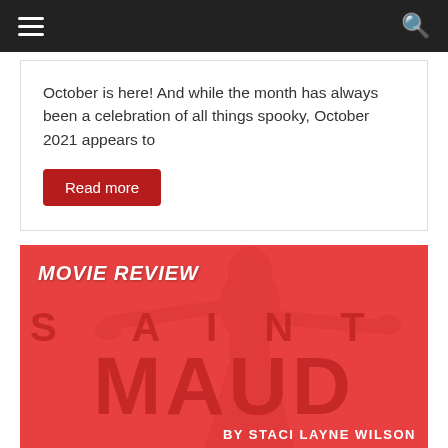Navigation bar with hamburger menu and search icon
October is here! And while the month has always been a celebration of all things spooky, October 2021 appears to
Read more
[Figure (photo): Movie review banner image for Saint Maud with red background. Shows a person with arms outstretched. Text reads: MOVIE REVIEW, SAINT MAUD, BY STACI LAYNE WILSON]